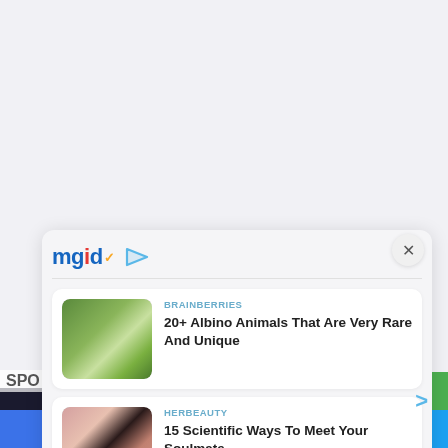[Figure (screenshot): MGID content recommendation widget showing two article cards. First card: BRAINBERRIES - '20+ Albino Animals That Are Very Rare And Unique' with a photo of children with an albino animal. Second card: HERBEAUTY - '15 Scientific Ways To Meet Your Soulmate' with a close-up photo. An X close button is visible at top right. Social share buttons (Facebook, Twitter) appear at the bottom.]